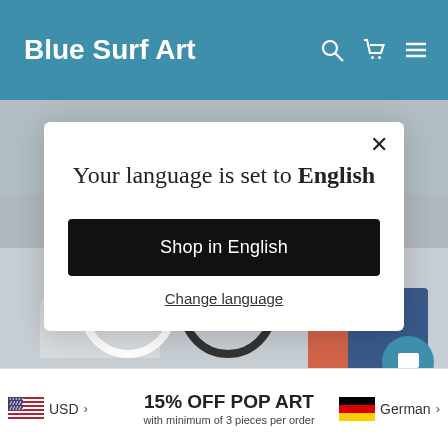Blue Surf Art
Your language is set to English
Shop in English
Change language
15% OFF POP ART
with minimum of 3 pieces per order
USD
German